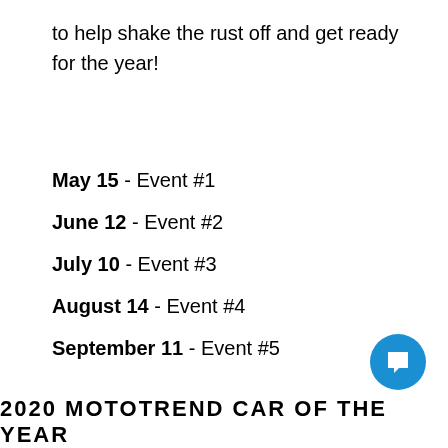to help shake the rust off and get ready for the year!
May 15 - Event #1
June 12 - Event #2
July 10 - Event #3
August 14 - Event #4
September 11 - Event #5
2020 MOTOTREND CAR OF THE YEAR